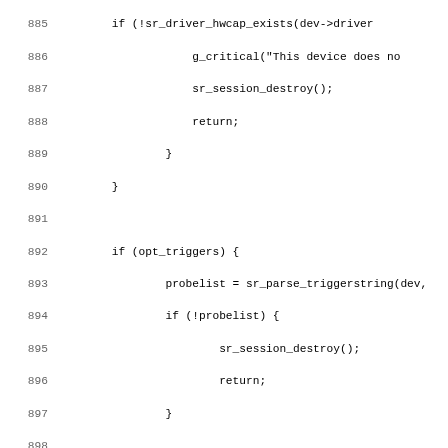[Figure (screenshot): Source code listing lines 885-917, C code with line numbers, showing driver/session initialization logic with trigger and time option handling.]